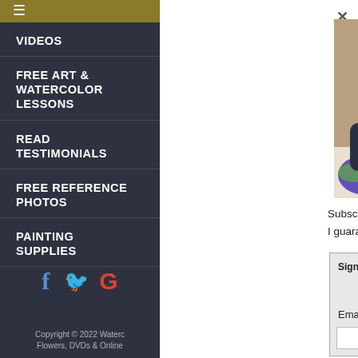VIDEOS
FREE ART & WATERCOLOR LESSONS
READ TESTIMONIALS
FREE REFERENCE PHOTOS
PAINTING SUPPLIES
[Figure (photo): Artist with curly red hair sitting at a table working on a large watercolor painting of purple flowers, with another painting visible in background]
Subscribe to my Newsletter! I guarantee 100% privacy.
Sign Up Today!
* required
Email Address: *